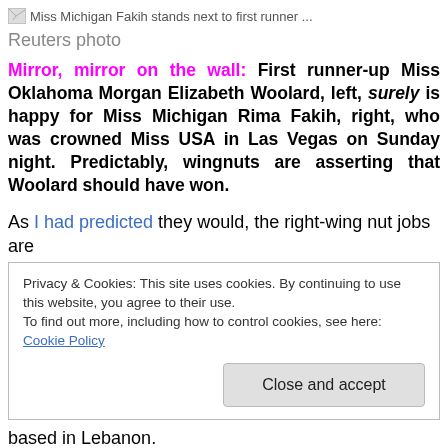[Figure (photo): Broken image icon with alt text: Miss Michigan Fakih stands next to first runner ...]
Reuters photo
Mirror, mirror on the wall: First runner-up Miss Oklahoma Morgan Elizabeth Woolard, left, surely is happy for Miss Michigan Rima Fakih, right, who was crowned Miss USA in Las Vegas on Sunday night. Predictably, wingnuts are asserting that Woolard should have won.
As I had predicted they would, the right-wing nut jobs are
Privacy & Cookies: This site uses cookies. By continuing to use this website, you agree to their use.
To find out more, including how to control cookies, see here: Cookie Policy
[Close and accept]
based in Lebanon.